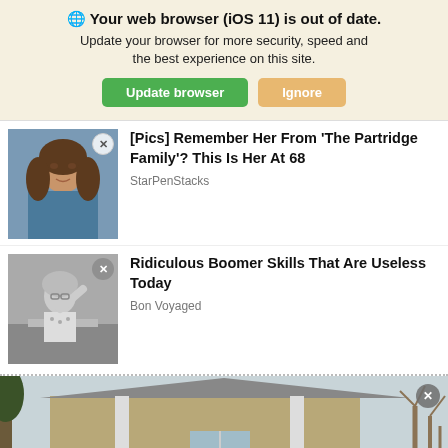🌐 Your web browser (iOS 11) is out of date. Update your browser for more security, speed and the best experience on this site.
Update browser | Ignore
[Figure (photo): Thumbnail photo of a young woman with long brown hair]
[Pics] Remember Her From 'The Partridge Family'? This Is Her At 68
StarPenStacks
[Figure (photo): Black and white thumbnail photo of a woman in a floral dress]
Ridiculous Boomer Skills That Are Useless Today
Bon Voyaged
[Figure (photo): Partial photo of a tan/beige colored house with white trim and bare trees]